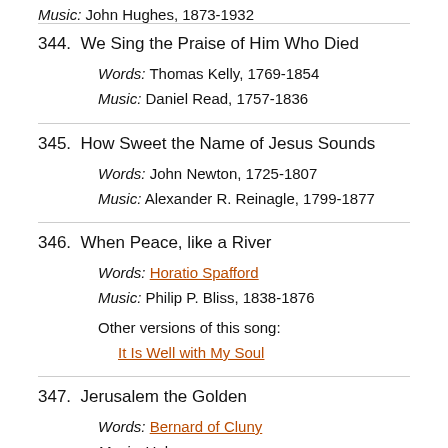Music: John Hughes, 1873-1932
344. We Sing the Praise of Him Who Died
Words: Thomas Kelly, 1769-1854
Music: Daniel Read, 1757-1836
345. How Sweet the Name of Jesus Sounds
Words: John Newton, 1725-1807
Music: Alexander R. Reinagle, 1799-1877
346. When Peace, like a River
Words: Horatio Spafford
Music: Philip P. Bliss, 1838-1876
Other versions of this song: It Is Well with My Soul
347. Jerusalem the Golden
Words: Bernard of Cluny
Music: Unknown